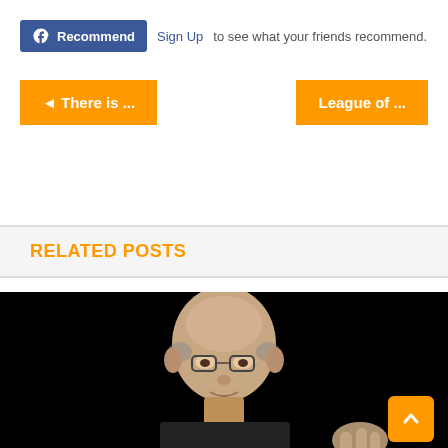[Figure (other): Facebook Recommend button with 'Sign Up to see what your friends recommend.' text]
[Figure (other): Navigation buttons: '◄ There is ...' on left and 'League of ...' on right, both orange]
RELATED POSTS
[Figure (photo): Close-up photo of a bald man with glasses gesturing, dark background]